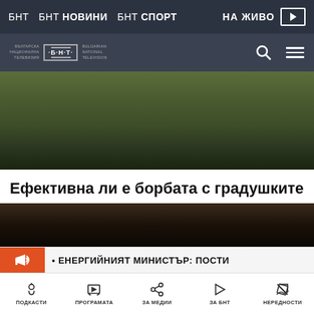БНТ  БНТ НОВИНИ  БНТ СПОРТ  НА ЖИВО
[Figure (logo): БНТ - Българска Национална Телевизия / Bulgarian National Television logo with search and menu icons]
[Figure (photo): Hero image showing aerial/landscape view of green field or grass, dark and muted tones]
Ефективна ли е борбата с градушките
17:30, 08.06.2018
[Figure (photo): Second article thumbnail image, dark tones]
• ЕНЕРГИЙНИЯТ МИНИСТЪР: ПОСТИ
ПОДКАСТИ  ПРОГРАМАТА  ЗА МЕДИИ  ЗА БНТ  НЕРЕДНОСТИ